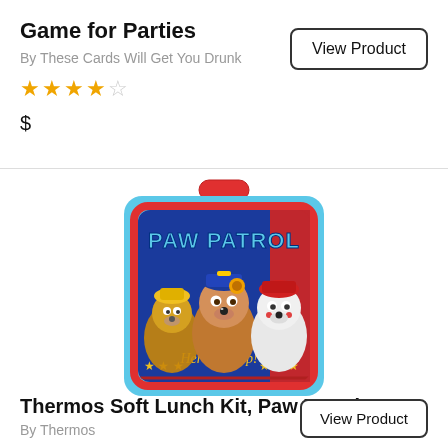Game for Parties
By These Cards Will Get You Drunk
★ ★ ★ ★ ☆
$
View Product
[Figure (photo): Thermos Soft Lunch Kit with Paw Patrol characters (Rubble, Chase, Marshall) on a blue background with red trim and handle. Text reads 'PAW PATROL' and 'Here to Help!' with yellow stars.]
Thermos Soft Lunch Kit, Paw Patrol
By Thermos